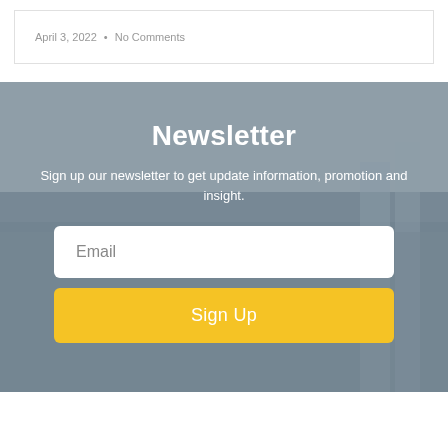April 3, 2022  •  No Comments
Newsletter
Sign up our newsletter to get update information, promotion and insight.
Email
Sign Up